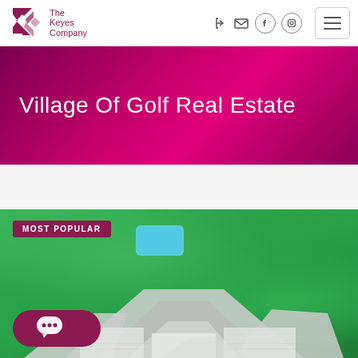[Figure (logo): The Keyes Company logo with stylized K in dark magenta/maroon and company name text]
Village Of Golf Real Estate
[Figure (photo): Aerial view of luxury home with pool surrounded by lush green trees, rooftop with grey tiles]
MOST POPULAR